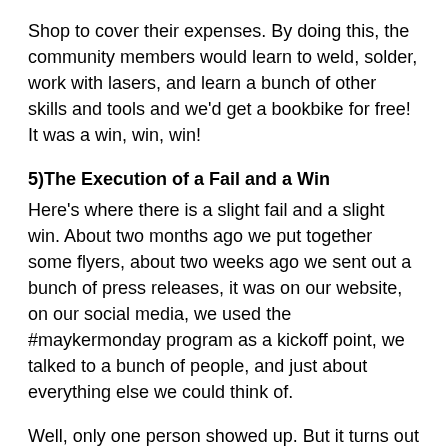Shop to cover their expenses. By doing this, the community members would learn to weld, solder, work with lasers, and learn a bunch of other skills and tools and we'd get a bookbike for free! It was a win, win, win!
5)The Execution of a Fail and a Win
Here's where there is a slight fail and a slight win. About two months ago we put together some flyers, about two weeks ago we sent out a bunch of press releases, it was on our website, on our social media, we used the #maykermonday program as a kickoff point, we talked to a bunch of people, and just about everything else we could think of.
Well, only one person showed up. But it turns out that he was an architecture major, recent grad, and his thesis project was designing a library! He seems to be really excited about the project and we have